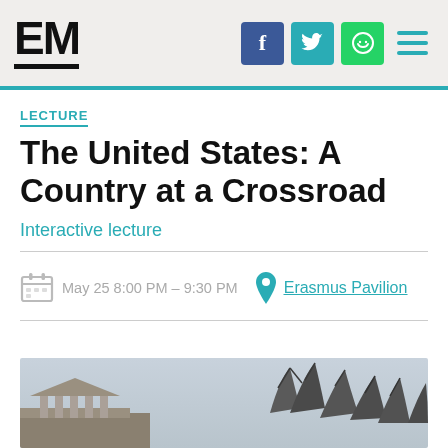EM | Facebook | Twitter | WhatsApp | Menu
LECTURE
The United States: A Country at a Crossroad
Interactive lecture
May 25 8:00 PM – 9:30 PM  Erasmus Pavilion
[Figure (photo): Photo of a neoclassical building with bare winter trees against a grey sky]